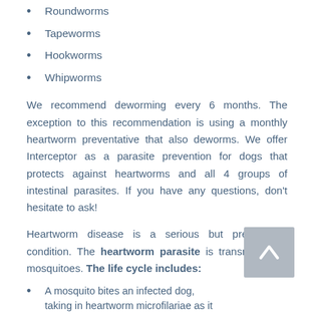Roundworms
Tapeworms
Hookworms
Whipworms
We recommend deworming every 6 months. The exception to this recommendation is using a monthly heartworm preventative that also deworms. We offer Interceptor as a parasite prevention for dogs that protects against heartworms and all 4 groups of intestinal parasites. If you have any questions, don't hesitate to ask!
Heartworm disease is a serious but preventable condition. The heartworm parasite is transmitted by mosquitoes. The life cycle includes:
A mosquito bites an infected dog, taking in heartworm microfilariae as it feeds.
The microfilariae develop...